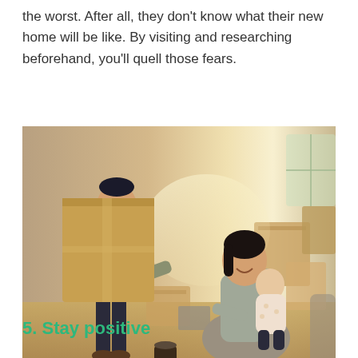the worst. After all, they don't know what their new home will be like. By visiting and researching beforehand, you'll quell those fears.
[Figure (photo): A young family moving into a new home. A man carries a large cardboard box while leaning toward a woman seated on the floor holding a baby. Several moving boxes are visible in the background of a bright, sunlit room.]
5. Stay positive